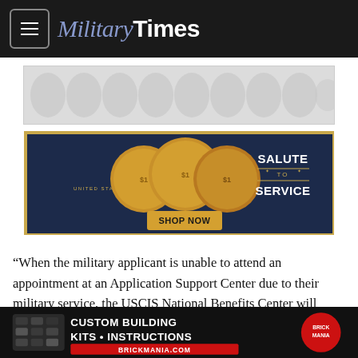MilitaryTimes
[Figure (screenshot): Gray patterned advertisement banner]
[Figure (screenshot): United States Mint 'Salute to Service' coin advertisement with gold coins and 'SHOP NOW' button]
“When the military applicant is unable to attend an appointment at an Application Support Center due to their military service, the USCIS National Benefits Center will work with the field office
[Figure (screenshot): Brickmania Custom Building Kits Instructions advertisement]